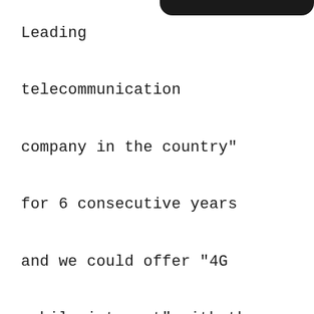[Figure (other): Dark rounded bar at top right corner of page]
Leading telecommunication company in the country" for 6 consecutive years and we could offer "4G mobile internet" with the fastest broadband speed in Iran, launch TD-LTE and achieve the technology of testing Voice over Long-Term Evolution (VoLTE)